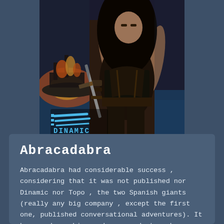[Figure (illustration): Video game cover art for Abracadabra by Dinamic, showing a fantasy warrior woman in dark armor holding a sword, with a ship burning in the background. The Dinamic logo (blue swoosh lines with DINAMIC text) appears in the lower left of the artwork.]
Abracadabra
Abracadabra had considerable success , considering that it was not published nor Dinamic nor Topo , the two Spanish giants (really any big company , except the first one, published conversational adventures). It has good graphics and surround atmosphere, which inevitably engages the player. We can comment as an